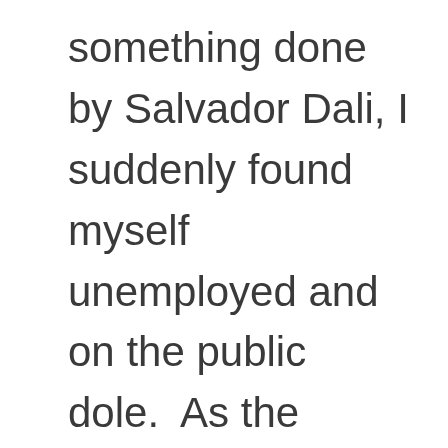something done by Salvador Dali, I suddenly found myself unemployed and on the public dole.  As the government checks rolled in, I pounded the pavement to find work.  The only result of all that pounding is me developing a bad case of fallen arches